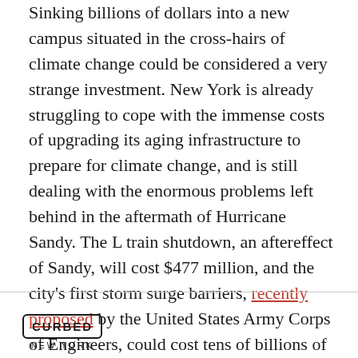Sinking billions of dollars into a new campus situated in the cross-hairs of climate change could be considered a very strange investment. New York is already struggling to cope with the immense costs of upgrading its aging infrastructure to prepare for climate change, and is still dealing with the enormous problems left behind in the aftermath of Hurricane Sandy. The L train shutdown, an aftereffect of Sandy, will cost $477 million, and the city's first storm surge barriers, recently proposed by the United States Army Corps of Engineers, could cost tens of billions of dollars if they're approved.
Instead of giving billions of dollars to a $1 trillion company in order to build a headquarters that is expected
[Figure (logo): Curbed New York logo — text 'CURBED' in a rounded rectangle border, with 'NEW YORK' below in spaced capitals]